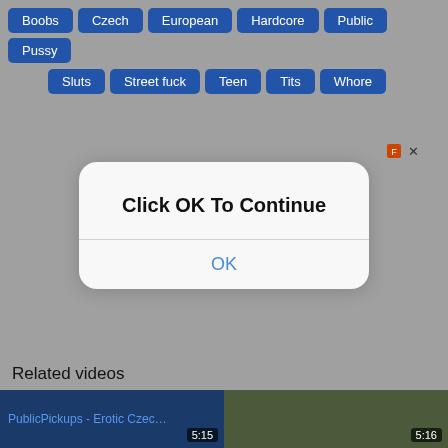Boobs  Czech  European  Hardcore  Public  Pussy  Sluts  Street fuck  Teen  Tits  Whore
[Figure (screenshot): iOS-style modal dialog with text 'Click OK To Continue' and an OK button]
Related videos
[Figure (screenshot): Thumbnail: PublicPickups - Erotic Czech C with duration 5:15]
[Figure (screenshot): Thumbnail: video with duration 5:16]